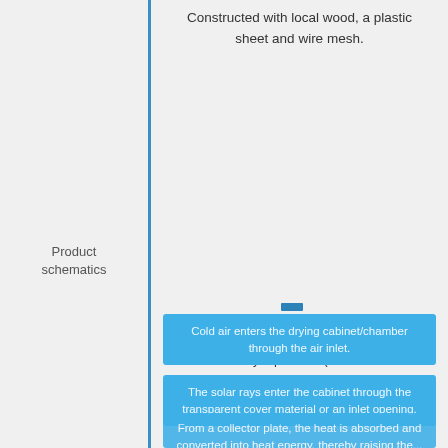Constructed with local wood, a plastic sheet and wire mesh.
Product schematics
The following take place in the solar dryer in order to dry a product^(interview with manufacturer):
Cold air enters the drying cabinet/chamber through the air inlet.
The solar rays enter the cabinet through the transparent cover material or an inlet opening.
From a collector plate, the heat is absorbed and converted into heat energy, thereby raising the...